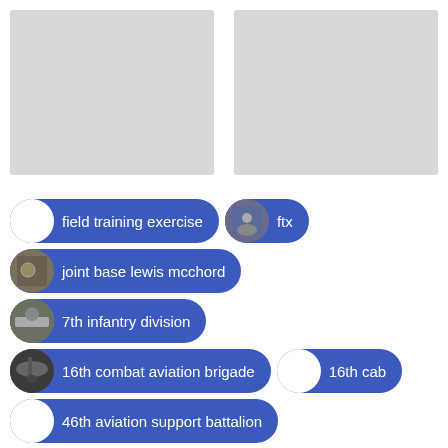[Figure (photo): Two gray placeholder image boxes side by side at the top of the page]
field training exercise
ftx
joint base lewis mcchord
7th infantry division
16th combat aviation brigade
16th cab
46th aviation support battalion
staff sgt bryan lewis
wa